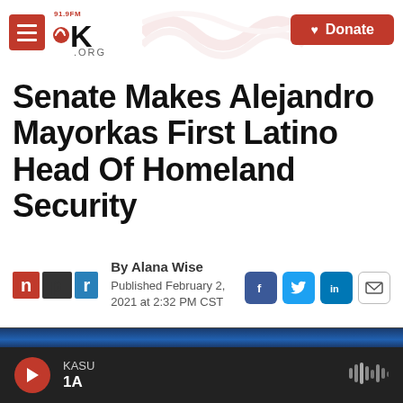91.9FM KASU.ORG | Donate
Senate Makes Alejandro Mayorkas First Latino Head Of Homeland Security
By Alana Wise
Published February 2, 2021 at 2:32 PM CST
[Figure (photo): Photo of Alejandro Mayorkas against a dark blue background]
KASU 1A